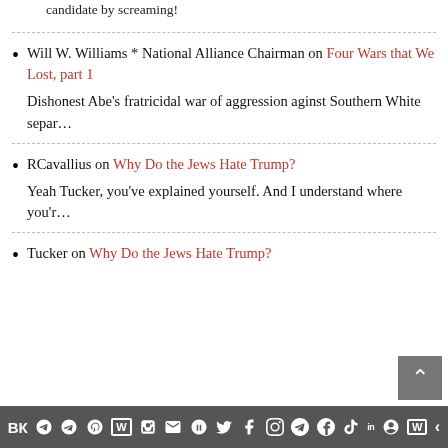candidate by screaming!
Will W. Williams * National Alliance Chairman on Four Wars that We Lost, part 1
Dishonest Abe’s fratricidal war of aggression aginst Southern White separ…
RCavallius on Why Do the Jews Hate Trump?
Yeah Tucker, you’ve explained yourself. And I understand where you’r…
Tucker on Why Do the Jews Hate Trump?
Social share icons bar